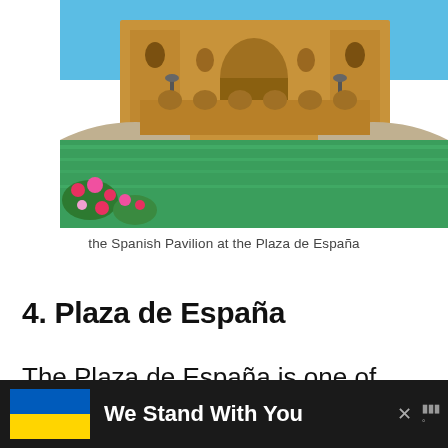[Figure (photo): Photo of the Spanish Pavilion at the Plaza de España, Seville — ornate Renaissance-Revival building with arched bridge in foreground, green canal water, and pink flowers]
the Spanish Pavilion at the Plaza de España
4. Plaza de España
The Plaza de España is one of the famous architectural
[Figure (infographic): Advertisement banner: Ukrainian flag on left, bold white text 'We Stand With You' on dark background, with close button and logo on right]